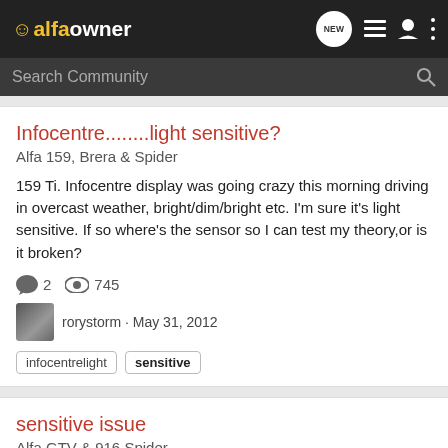alfaowner - navigation bar with logo, NEW, list, user, and more icons
Search Community
Infocentre........light sensitive?
Alfa 159, Brera & Spider
159 Ti. Infocentre display was going crazy this morning driving in overcast weather, bright/dim/bright etc. I'm sure it's light sensitive. If so where's the sensor so I can test my theory,or is it broken?
2  745  rorystorm · May 31, 2012
infocentrelight  sensitive
sensitive issue
Alfa GTV & 916 Spider